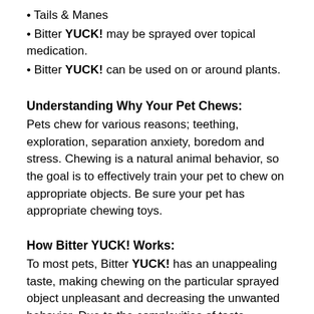Tails & Manes
Bitter YUCK! may be sprayed over topical medication.
Bitter YUCK! can be used on or around plants.
Understanding Why Your Pet Chews:
Pets chew for various reasons; teething, exploration, separation anxiety, boredom and stress. Chewing is a natural animal behavior, so the goal is to effectively train your pet to chew on appropriate objects. Be sure your pet has appropriate chewing toys.
How Bitter YUCK! Works:
To most pets, Bitter YUCK! has an unappealing taste, making chewing on the particular sprayed object unpleasant and decreasing the unwanted behavior. Due to the complexities of taste preferences and behavior issues, results may vary. It is important to monitor your pet's reaction to Bitter YUCK!. Be sure your pet is deterred by the taste before leaving them alone with the object being sprayed.